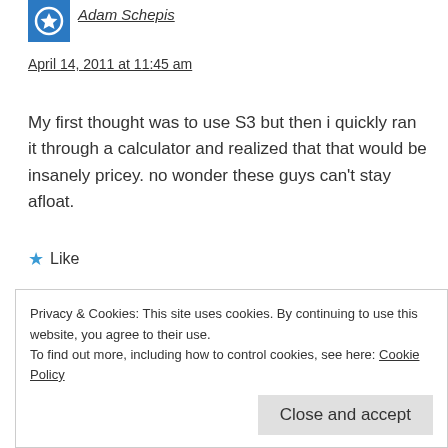Adam Schepis
April 14, 2011 at 11:45 am
My first thought was to use S3 but then i quickly ran it through a calculator and realized that that would be insanely pricey. no wonder these guys can't stay afloat.
Like
Log in to Reply
Privacy & Cookies: This site uses cookies. By continuing to use this website, you agree to their use.
To find out more, including how to control cookies, see here: Cookie Policy
Close and accept